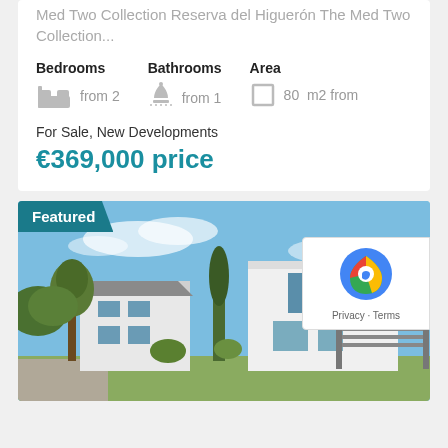Med Two Collection Reserva del Higuerón The Med Two Collection...
Bedrooms  from 2   Bathrooms  from 1   Area  80 m2 from
For Sale, New Developments
€369,000 price
[Figure (photo): Featured property listing photo showing a modern white contemporary house with flat roof, large windows, a pergola structure on the right, tall cypress trees, pine trees, green lawn and landscaping, under a blue sky with light clouds. A reCAPTCHA widget overlays the top-right corner with Privacy · Terms links.]